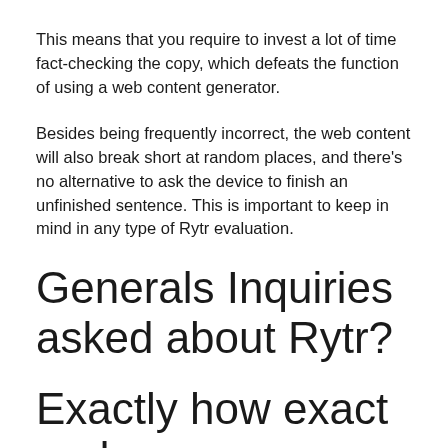This means that you require to invest a lot of time fact-checking the copy, which defeats the function of using a web content generator.
Besides being frequently incorrect, the web content will also break short at random places, and there's no alternative to ask the device to finish an unfinished sentence. This is important to keep in mind in any type of Rytr evaluation.
Generals Inquiries asked about Rytr?
Exactly how exact and